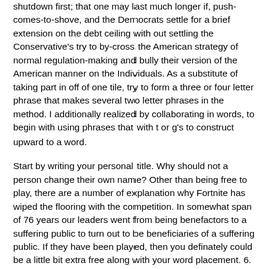shutdown first; that one may last much longer if, push-comes-to-shove, and the Democrats settle for a brief extension on the debt ceiling with out settling the Conservative's try to by-cross the American strategy of normal regulation-making and bully their version of the American manner on the Individuals. As a substitute of taking part in off of one tile, try to form a three or four letter phrase that makes several two letter phrases in the method. I additionally realized by collaborating in words, to begin with using phrases that with t or g's to construct upward to a word.
Start by writing your personal title. Why should not a person change their own name? Other than being free to play, there are a number of explanation why Fortnite has wiped the flooring with the competition. In somewhat span of 76 years our leaders went from being benefactors to a suffering public to turn out to be beneficiaries of a suffering public. If they have been played, then you definately could be a little bit extra free along with your word placement. 6. wayangpoker . This takes a bit observe, however will make it easier to significantly. If you wish to carry out Western or United states on the internet roulette, it might assist you to to know the Western and United states on the web roulette guidelines and the historical past of the experience. Along with the single zero on the wheel, there are a couple of guidelines which could be played in varied European casinos that add even more drama to roulette. They do not